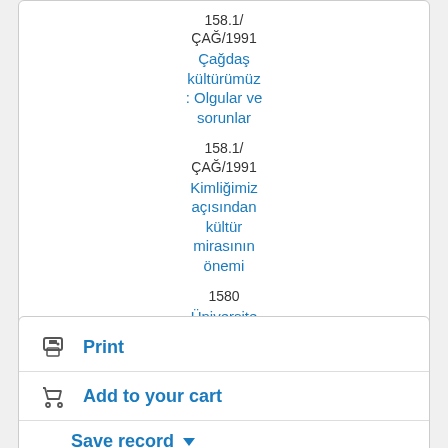158.1/ ÇAĞ/1991
Çağdaş kültürümüz : Olgular ve sorunlar
158.1/ ÇAĞ/1991
Kimliğimiz açısından kültür mirasının önemi
1580
Üniversite
Print
Add to your cart
Save record ▾
More searches ▾